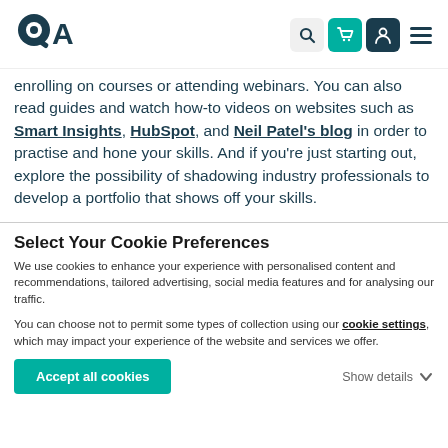QA logo with navigation icons: search, cart, user, menu
enrolling on courses or attending webinars. You can also read guides and watch how-to videos on websites such as Smart Insights, HubSpot, and Neil Patel's blog in order to practise and hone your skills. And if you're just starting out, explore the possibility of shadowing industry professionals to develop a portfolio that shows off your skills.
Select Your Cookie Preferences
We use cookies to enhance your experience with personalised content and recommendations, tailored advertising, social media features and for analysing our traffic.
You can choose not to permit some types of collection using our cookie settings, which may impact your experience of the website and services we offer.